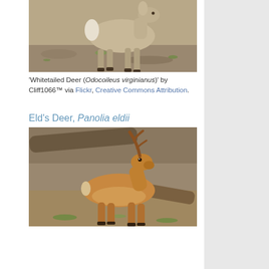[Figure (photo): Whitetailed deer (Odocoileus virginianus) walking, side view showing legs and body, outdoor zoo or nature setting with dirt ground and some green grass]
'Whitetailed Deer (Odocoileus virginianus)' by Cliff1066™ via Flickr, Creative Commons Attribution.
Eld's Deer, Panolia eldii
[Figure (photo): Eld's Deer (Panolia eldii) walking with antlers visible, brownish-orange coat, outdoor setting with dirt ground, logs, and sparse green vegetation]